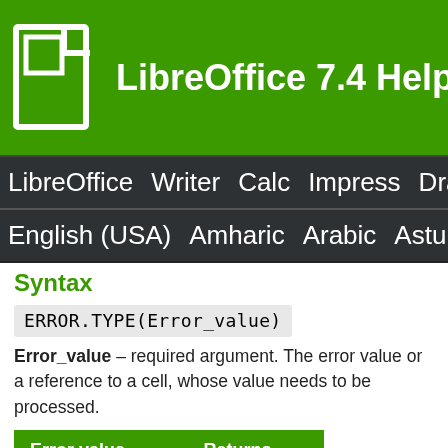LibreOffice 7.4 Help
LibreOffice Writer Calc Impress Dra
English (USA) Amharic Arabic Asturi
Syntax
Error_value – required argument. The error value or a reference to a cell, whose value needs to be processed.
| Error value | Returns |
| --- | --- |
| Err:511 | 1 |
| #DIV/0! | 2 |
| ? | 3 |